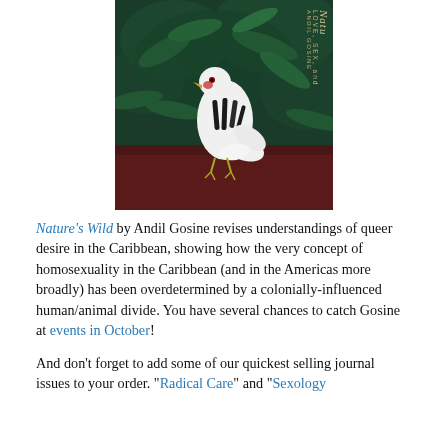[Figure (photo): Book cover of 'Nature's Wild: Love, Sex, and' by Andil Gosine, featuring a white bird against a dark green foliage background with deep red/brown lower portion.]
Nature's Wild by Andil Gosine revises understandings of queer desire in the Caribbean, showing how the very concept of homosexuality in the Caribbean (and in the Americas more broadly) has been overdetermined by a colonially-influenced human/animal divide. You have several chances to catch Gosine at events in October!
And don't forget to add some of our quickest selling journal issues to your order. "Radical Care" and "Sexology